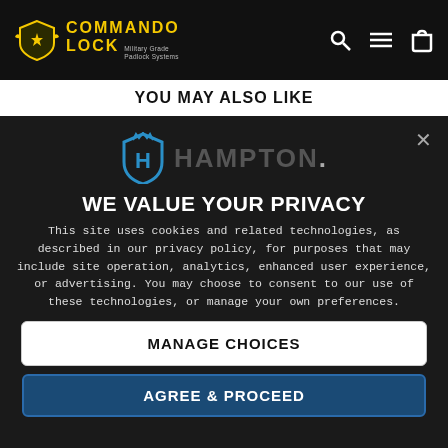[Figure (logo): Commando Lock - Military Grade Padlock Systems logo with navigation icons (search, menu, cart) on black navbar]
YOU MAY ALSO LIKE
[Figure (logo): Hampton logo - shield with H, text HAMPTON. on dark background with X close button]
WE VALUE YOUR PRIVACY
This site uses cookies and related technologies, as described in our privacy policy, for purposes that may include site operation, analytics, enhanced user experience, or advertising. You may choose to consent to our use of these technologies, or manage your own preferences.
MANAGE CHOICES
AGREE & PROCEED
Privacy Policy    Powered by: TrustArc